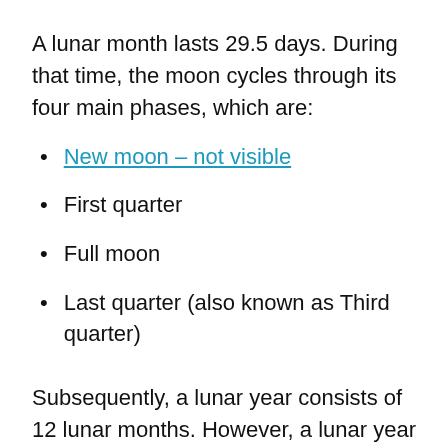A lunar month lasts 29.5 days. During that time, the moon cycles through its four main phases, which are:
New moon – not visible
First quarter
Full moon
Last quarter (also known as Third quarter)
Subsequently, a lunar year consists of 12 lunar months. However, a lunar year lasts slightly less